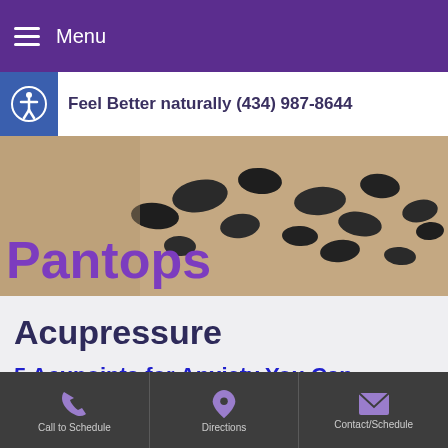≡ Menu
Feel Better naturally (434) 987-8644
[Figure (photo): Close-up photo of hot stones placed on a person's back, with the word 'Pantops' overlaid in large purple text]
Acupressure
5 Acupoints for Anxiety You Can Administer Yourself
📞 Call to Schedule   📍 Directions   ✉ Contact/Schedule